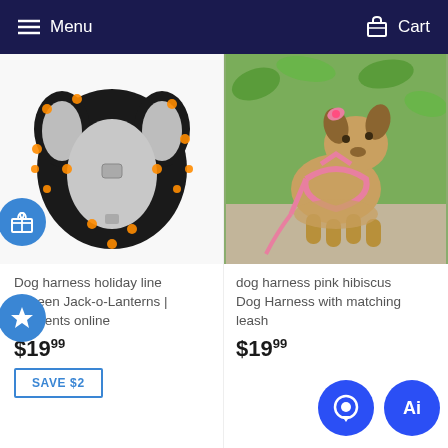Menu  Cart
[Figure (photo): Dog harness with Halloween Jack-o-Lanterns print on black background, back view showing gray padding panels]
[Figure (photo): Small Yorkshire Terrier dog wearing a pink hibiscus print harness with matching pink leash, outdoors on stone surface with greenery background]
Dog harness holiday line lloween Jack-o-Lanterns | g parents online
dog harness pink hibiscus Dog Harness with matching leash
$19.99
$19.99
SAVE $2